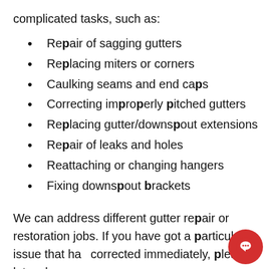complicated tasks, such as:
Repair of sagging gutters
Replacing miters or corners
Caulking seams and end caps
Correcting improperly pitched gutters
Replacing gutter/downspout extensions
Repair of leaks and holes
Reattaching or changing hangers
Fixing downspout brackets
We can address different gutter repair or restoration jobs. If you have got a particular issue that has to be corrected immediately, please let us know.